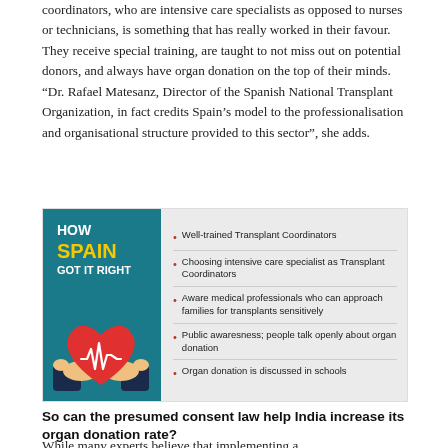coordinators, who are intensive care specialists as opposed to nurses or technicians, is something that has really worked in their favour. They receive special training, are taught to not miss out on potential donors, and always have organ donation on the top of their minds. “Dr. Rafael Matesanz, Director of the Spanish National Transplant Organization, in fact credits Spain’s model to the professionalisation and organisational structure provided to this sector”, she adds.
[Figure (infographic): Infographic titled 'HOW SPAIN GOT IT RIGHT' with a teal background on the left showing hands holding a red heart with a heartbeat symbol, and on the right a list of 5 bullet points on a grey background: Well-trained Transplant Coordinators; Choosing intensive care specialist as Transplant Coordinators; Aware medical professionals who can approach families for transplants sensitively; Public awaresness; people talk openly about organ donation; Organ donation is discussed in schools.]
So can the presumed consent law help India increase its organ donation rate?
While many experts believe that implementing a